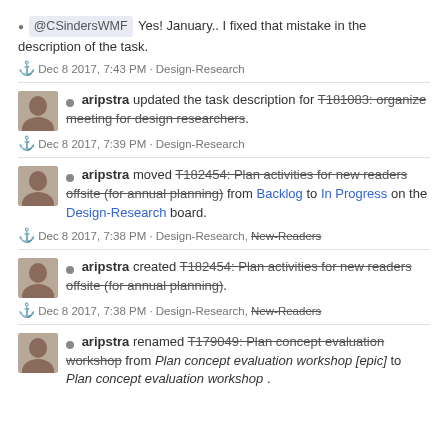@CSindersWMF Yes! January.. I fixed that mistake in the description of the task.
Dec 8 2017, 7:43 PM · Design-Research
aripstra updated the task description for T181083: organize meeting for design researchers.
Dec 8 2017, 7:39 PM · Design-Research
aripstra moved T182454: Plan activities for new readers offsite (for annual planning) from Backlog to In Progress on the Design-Research board.
Dec 8 2017, 7:38 PM · Design-Research, New-Readers
aripstra created T182454: Plan activities for new readers offsite (for annual planning).
Dec 8 2017, 7:38 PM · Design-Research, New-Readers
aripstra renamed T179049: Plan concept evaluation workshop from Plan concept evaluation workshop [epic] to Plan concept evaluation workshop .